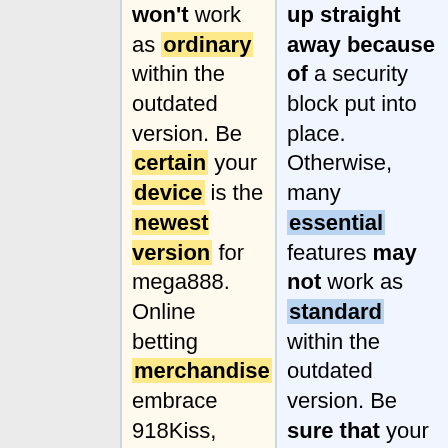won't work as ordinary within the outdated version. Be certain your device is the newest version for mega888. Online betting merchandise embrace 918Kiss, SCR888, Joker123, Live22, LPE88, Pussy888, XE88, SunCity, Rollex Casino, and Mega888. The purchase speaks in regards to the actuality that the
up straight away because of a security block put into place. Otherwise, many essential features may not work as standard within the outdated version. Be sure that your gadget is the latest model for mega888. Online betting products embrace 918Kiss, SCR888, Joker123, Live22, LPE88, Pussy888, XE88, SunCity, Rollex